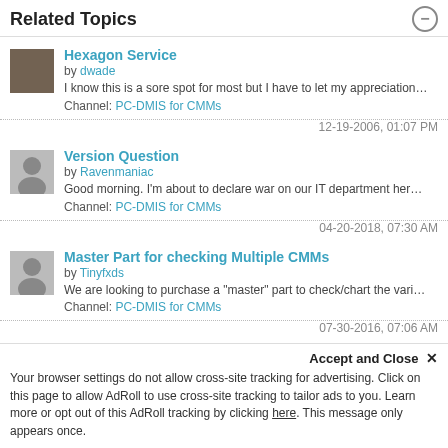Related Topics
Hexagon Service by dwade
I know this is a sore spot for most but I have to let my appreciation…
Channel: PC-DMIS for CMMs
12-19-2006, 01:07 PM
Version Question by Ravenmaniac
Good morning. I'm about to declare war on our IT department her…
Channel: PC-DMIS for CMMs
04-20-2018, 07:30 AM
Master Part for checking Multiple CMMs by Tinyfxds
We are looking to purchase a "master" part to check/chart the vari…
Channel: PC-DMIS for CMMs
07-30-2016, 07:06 AM
Allowing Hexagon to Remote In by gatorgirl59
What does Hexagon do when your IT is already bel…
Channel: …
Accept and Close ×
Your browser settings do not allow cross-site tracking for advertising. Click on this page to allow AdRoll to use cross-site tracking to tailor ads to you. Learn more or opt out of this AdRoll tracking by clicking here. This message only appears once.